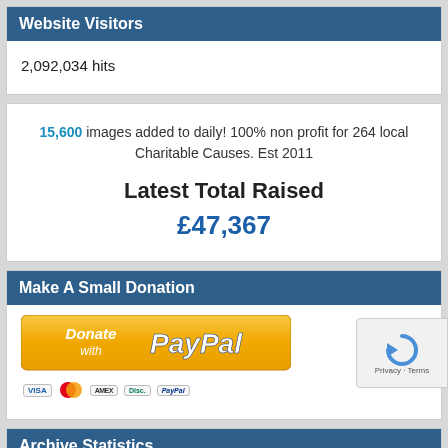Website Visitors
2,092,034 hits
15,600 images added to daily! 100% non profit for 264 local Charitable Causes. Est 2011
Latest Total Raised
£47,367
Make A Small Donation
[Figure (logo): Donate with PayPal button with payment card icons (Visa, Mastercard, Amex, Discover, PayPal)]
Archive Statistics
[Figure (logo): Google reCAPTCHA widget overlay showing shield icon and Privacy/Terms links]